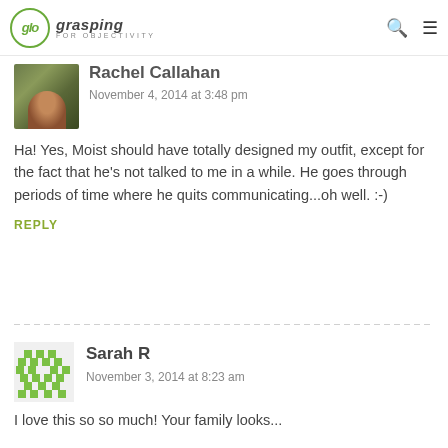glo grasping FOR OBJECTIVITY
[Figure (photo): Profile photo of Rachel Callahan - woman with long brown hair]
Rachel Callahan
November 4, 2014 at 3:48 pm
Ha! Yes, Moist should have totally designed my outfit, except for the fact that he's not talked to me in a while. He goes through periods of time where he quits communicating...oh well. :-)
REPLY
[Figure (illustration): Green pixel art avatar for Sarah R]
Sarah R
November 3, 2014 at 8:23 am
I love this so so much! Your family looks...